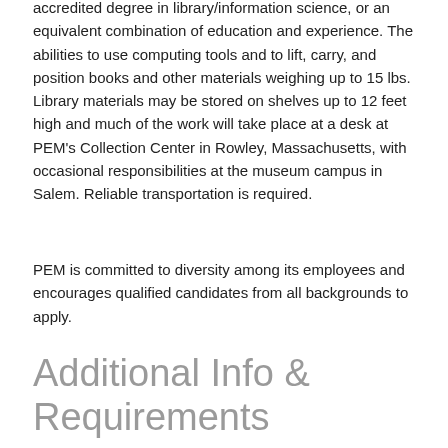accredited degree in library/information science, or an equivalent combination of education and experience. The abilities to use computing tools and to lift, carry, and position books and other materials weighing up to 15 lbs. Library materials may be stored on shelves up to 12 feet high and much of the work will take place at a desk at PEM's Collection Center in Rowley, Massachusetts, with occasional responsibilities at the museum campus in Salem. Reliable transportation is required.
PEM is committed to diversity among its employees and encourages qualified candidates from all backgrounds to apply.
Additional Info & Requirements